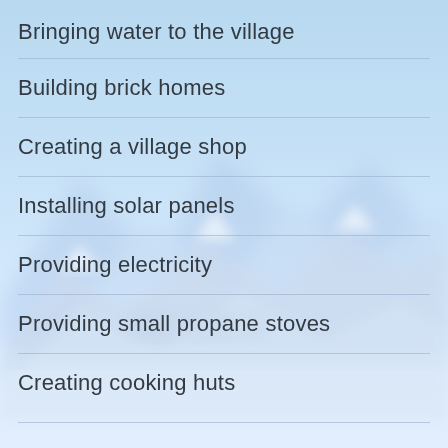Bringing water to the village
Building brick homes
Creating a village shop
Installing solar panels
Providing electricity
Providing small propane stoves
Creating cooking huts